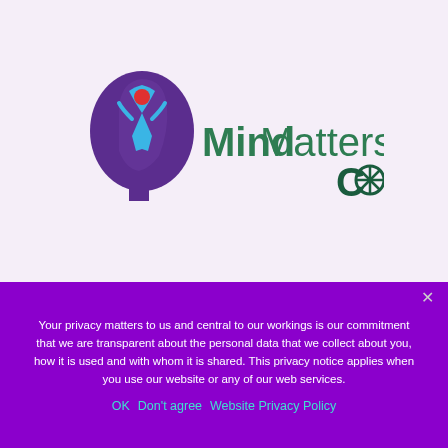[Figure (logo): MindMatters COI logo: a purple silhouette of a human head facing left with a blue figure and red dot inside, next to the text 'MindMatters COI' in green and dark teal lettering]
Your privacy matters to us and central to our workings is our commitment that we are transparent about the personal data that we collect about you, how it is used and with whom it is shared. This privacy notice applies when you use our website or any of our web services.
OK   Don't agree   Website Privacy Policy